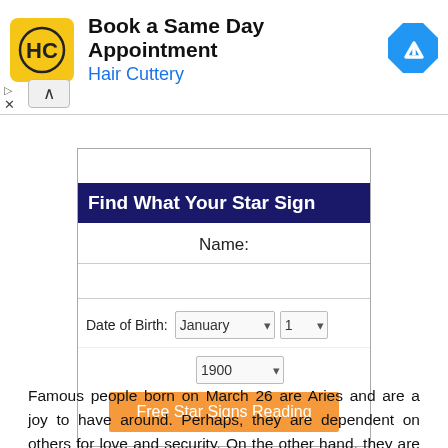[Figure (screenshot): Advertisement banner for Hair Cuttery: yellow logo with HC, bold text 'Book a Same Day Appointment', blue link 'Hair Cuttery', blue octagon arrow icon on right. Close/collapse controls below.]
[Figure (screenshot): Web form widget: dark navy header 'Find What Your Star Sign', fields for Name, Date of Birth (dropdowns: January, 1, 1900), orange 'Free Star Signs Reading' button.]
Famous people born on March 26 are Aries and are a joy to have around. Perhaps, they are dependent on others for love and security. On the other hand, they are not in a hurry to grow. Their health is an on-going challenge and be...